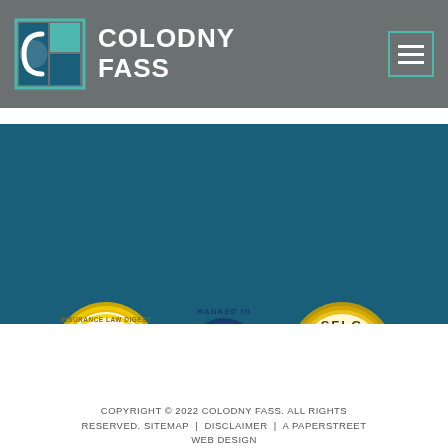COLODNY FASS
[Figure (logo): Colodny Fass law firm logo with teal and white square grid icon and firm name in white bold text on gray background]
[Figure (infographic): Three award badges: Insurance Law Digest 2021 Best Contributor gold badge, Ranked in USA Chambers 2018 navy badge with Colodny Fass text, and SFLG Top Lawyer gold badge]
COPYRIGHT © 2022 COLODNY FASS. ALL RIGHTS RESERVED. SITEMAP | DISCLAIMER | A PAPERSTREET WEB DESIGN